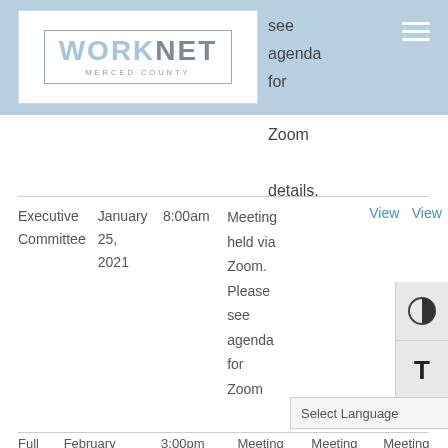[Figure (logo): WorkNet Merced County logo — white background with 'WORKNET' in large letters (light blue and grey) and 'MERCED COUNTY' in small caps below, inside a thin border box]
see agenda for Zoom details.
|  | Date | Time | Description | View | View |
| --- | --- | --- | --- | --- | --- |
| Executive Committee | January 25, 2021 | 8:00am | Meeting held via Zoom. Please see agenda for Zoom | View | View |
Select Language
| Full | February | 3:00pm | Meeting | Meeting | Meeting |
| --- | --- | --- | --- | --- | --- |